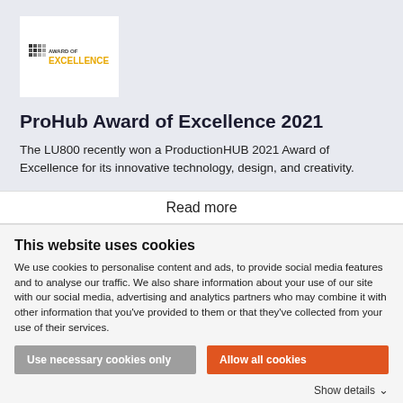[Figure (logo): ProHub Award of Excellence logo with dot grid pattern and yellow EXCELLENCE text]
ProHub Award of Excellence 2021
The LU800 recently won a ProductionHUB 2021 Award of Excellence for its innovative technology, design, and creativity.
Read more
This website uses cookies
We use cookies to personalise content and ads, to provide social media features and to analyse our traffic. We also share information about your use of our site with our social media, advertising and analytics partners who may combine it with other information that you've provided to them or that they've collected from your use of their services.
Use necessary cookies only
Allow all cookies
Show details